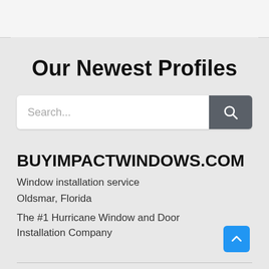Our Newest Profiles
[Figure (other): Search bar with text input placeholder 'Search...' and a dark gray search button with magnifying glass icon]
BUYIMPACTWINDOWS.COM
Window installation service
Oldsmar, Florida
The #1 Hurricane Window and Door Installation Company